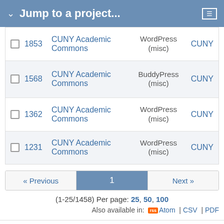Jump to a project...
|  | # | Project | Tracker | Assignee |
| --- | --- | --- | --- | --- |
|  | 1853 | CUNY Academic Commons | WordPress (misc) | CUNY |
|  | 1568 | CUNY Academic Commons | BuddyPress (misc) | CUNY |
|  | 1362 | CUNY Academic Commons | WordPress (misc) | CUNY |
|  | 1231 | CUNY Academic Commons | WordPress (misc) | CUNY |
« Previous  1  Next »
(1-25/1458) Per page: 25, 50, 100
Also available in: Atom | CSV | PDF
Powered by Redmine © 2006-2022 Jean-Philippe Lang